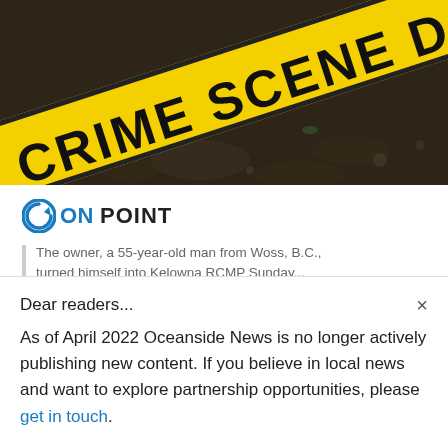[Figure (photo): Crime scene tape reading 'CRIME SCENE DO NO' in bold black text on yellow tape, photographed diagonally against a blurred dark ground background.]
[Figure (logo): ON POINT logo with a circular arrow icon in teal/blue before 'ON' in blue and 'POINT' in black bold text.]
The owner, a 55-year-old man from Woss, B.C., turned himself into Kelowna RCMP Sunday...
Dear readers...
As of April 2022 Oceanside News is no longer actively publishing new content. If you believe in local news and want to explore partnership opportunities, please get in touch.